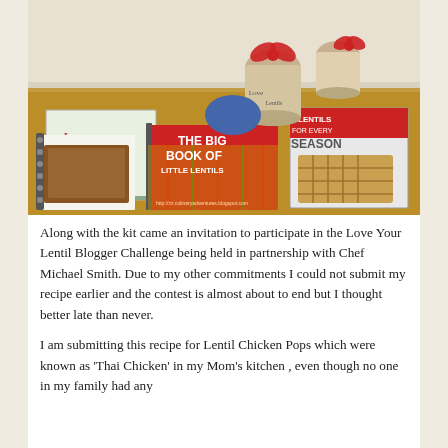[Figure (photo): Photo of a lentil cookbook kit including books titled 'Love Your Lentils', 'The Big Book of Little Lentils', 'Lentils for Every Season', and several jars of lentils decorated with red bows.]
Along with the kit came an invitation to participate in the Love Your Lentil Blogger Challenge being held in partnership with Chef Michael Smith. Due to my other commitments I could not submit my recipe earlier and the contest is almost about to end but I thought better late than never.
I am submitting this recipe for Lentil Chicken Pops which were known as 'Thai Chicken' in my Mom's kitchen , even though no one in my family had any